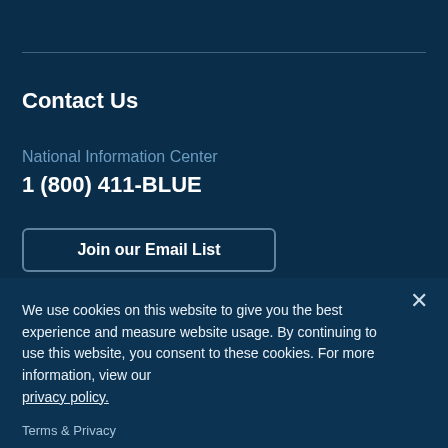Contact Us
National Information Center
1 (800) 411-BLUE
Join our Email List
We use cookies on this website to give you the best experience and measure website usage. By continuing to use this website, you consent to these cookies. For more information, view our privacy policy.
Terms & Privacy